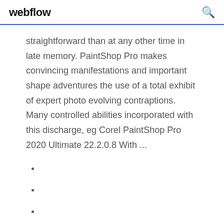webflow
straightforward than at any other time in late memory. PaintShop Pro makes convincing manifestations and important shape adventures the use of a total exhibit of expert photo evolving contraptions. Many controlled abilities incorporated with this discharge, eg Corel PaintShop Pro 2020 Ultimate 22.2.0.8 With ...
539
639
1036